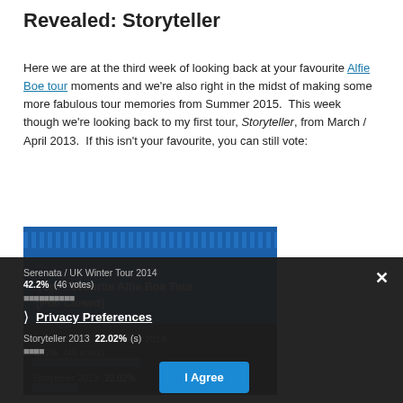Revealed: Storyteller
Here we are at the third week of looking back at your favourite Alfie Boe tour moments and we're also right in the midst of making some more fabulous tour memories from Summer 2015. This week though we're looking back to my first tour, Storyteller, from March / April 2013. If this isn't your favourite, you can still vote:
[Figure (screenshot): Poll widget showing 'Your Favourite Alfie Boe Tour (Poll Closed)' with results including Serenata / UK Winter Tour 2014 at 42.2% (46 votes) and Storyteller 2013 at 22.02% with a privacy preferences overlay showing a cookie consent dialog with 'I Agree' button.]